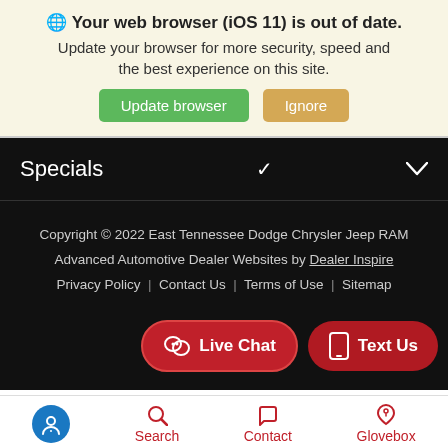🌐 Your web browser (iOS 11) is out of date. Update your browser for more security, speed and the best experience on this site. [Update browser] [Ignore]
Specials
Copyright © 2022 East Tennessee Dodge Chrysler Jeep RAM
Advanced Automotive Dealer Websites by Dealer Inspire
Privacy Policy | Contact Us | Terms of Use | Sitemap
[Figure (screenshot): Live Chat and Text Us buttons in red pill shapes]
[Figure (screenshot): Bottom navigation bar with accessibility, Search, Contact, and Glovebox icons]